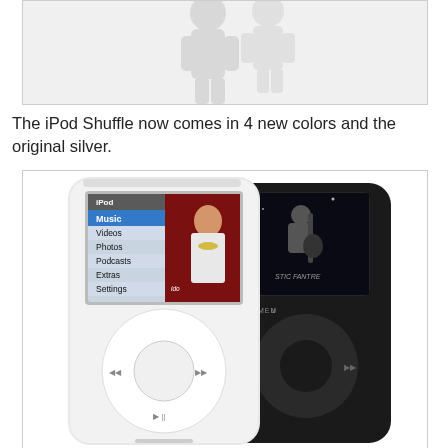[Figure (photo): Partial image at top showing faint silhouette figures, cropped view of what appears to be people or iPod Shuffle product image]
The iPod Shuffle now comes in 4 new colors and the original silver.
[Figure (photo): Two iPod Classic devices side by side - one silver/white and one black - both showing the classic click wheel design. The white one shows the iPod menu screen with Music selected, and album art visible. The black one shows album art on screen.]